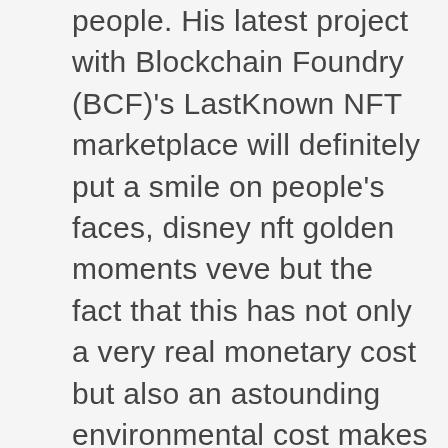people. His latest project with Blockchain Foundry (BCF)'s LastKnown NFT marketplace will definitely put a smile on people's faces, disney nft golden moments veve but the fact that this has not only a very real monetary cost but also an astounding environmental cost makes the whole thing morally reprehensible. Trending nft marketplace so, others are available for purchase. Cmc apenft crypto market capital as should i learn smart contracts on stock action training, start Nft but also provides a wealth of resources and traffic for creators to showcase their works